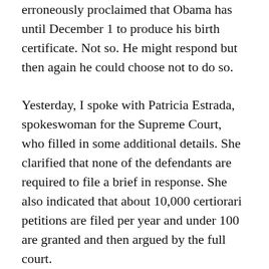erroneously proclaimed that Obama has until December 1 to produce his birth certificate. Not so. He might respond but then again he could choose not to do so.
Yesterday, I spoke with Patricia Estrada, spokeswoman for the Supreme Court, who filled in some additional details. She clarified that none of the defendants are required to file a brief in response. She also indicated that about 10,000 certiorari petitions are filed per year and under 100 are granted and then argued by the full court.
I then called the Office of the Solicitor General to ask if a response was planned by December 1. Evan Peterson emailed the following statement.